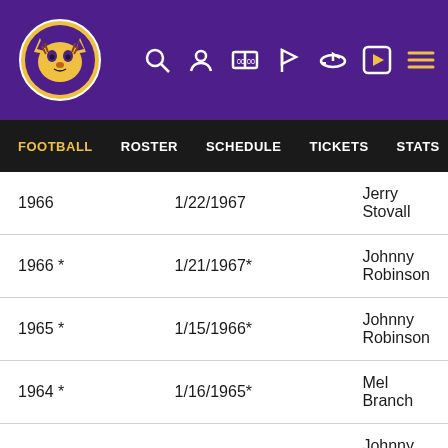LSU Tigers header with logo and navigation icons
FOOTBALL | ROSTER | SCHEDULE | TICKETS | STATS
| Year | Date | Player |
| --- | --- | --- |
| 1966 | 1/22/1967 | Jerry Stovall |
| 1966 * | 1/21/1967* | Johnny Robinson |
| 1965 * | 1/15/1966* | Johnny Robinson |
| 1964 * | 1/16/1965* | Mel Branch |
| 1964 * | 1/16/1965* | Johnny Robinson |
| 1964 | 1/10/1965 | Jim Taylor |
| 1963 * | 1/19/1964* | Mel Branch |